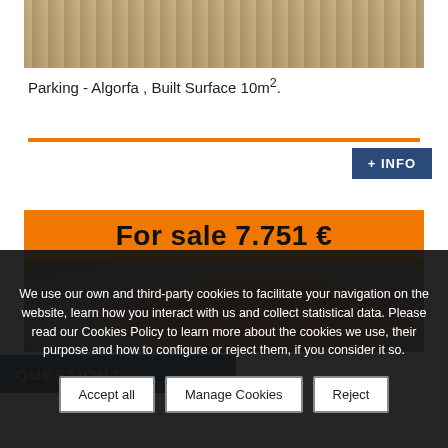[Figure (photo): Top portion of a parking/floor surface photo, showing wooden or concrete flooring texture.]
Parking - Algorfa , Built Surface 10m².
[Figure (other): Orange horizontal divider bar with a dark blue '+ INFO' button on the right.]
For sale 7.751 €
[Figure (photo): Bottom portion of a property listing photo showing a circular object with red/orange coloring.]
QUESTION?
We use our own and third-party cookies to facilitate your navigation on the website, learn how you interact with us and collect statistical data. Please read our Cookies Policy to learn more about the cookies we use, their purpose and how to configure or reject them, if you consider it so.
Accept all
Manage Cookies
Reject